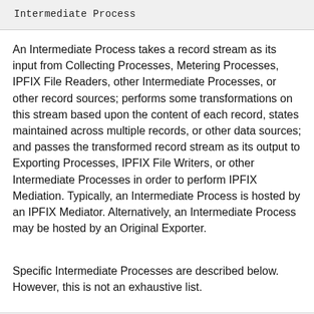Intermediate Process
An Intermediate Process takes a record stream as its input from Collecting Processes, Metering Processes, IPFIX File Readers, other Intermediate Processes, or other record sources; performs some transformations on this stream based upon the content of each record, states maintained across multiple records, or other data sources; and passes the transformed record stream as its output to Exporting Processes, IPFIX File Writers, or other Intermediate Processes in order to perform IPFIX Mediation. Typically, an Intermediate Process is hosted by an IPFIX Mediator. Alternatively, an Intermediate Process may be hosted by an Original Exporter.
Specific Intermediate Processes are described below. However, this is not an exhaustive list.
Intermediate Conversion Process